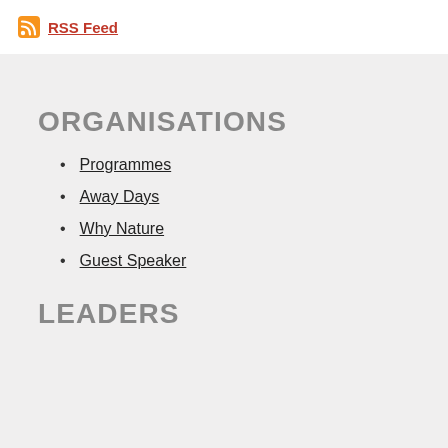RSS Feed
ORGANISATIONS
Programmes
Away Days
Why Nature
Guest Speaker
LEADERS